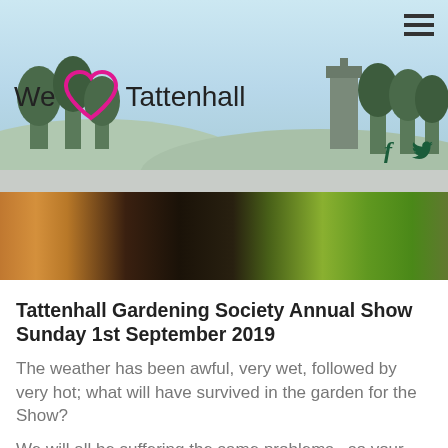We ♥ Tattenhall
[Figure (photo): Close-up photo of vegetables including carrots, green apples, corn, and other produce at a garden show]
Tattenhall Gardening Society Annual Show Sunday 1st September 2019
The weather has been awful, very wet, followed by very hot; what will have survived in the garden for the Show?
We will all be suffering the same problems , so your chance of winning could be higher!
So – Tips for showing: